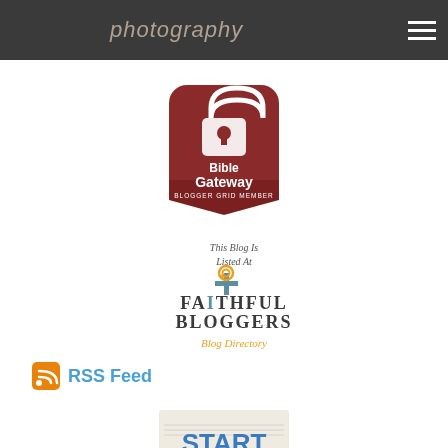photography
[Figure (logo): Bible Gateway Blogger Grid Member badge - rounded rectangle shape in dark red/maroon with white text and lock icon]
[Figure (logo): Faithful Bloggers Blog Directory badge - This Blog Is Listed At Faithful Bloggers Blog Directory with cross and RSS icon]
RSS Feed
[Figure (illustration): Start Writing - Unleash Your Inner Author book cover image]